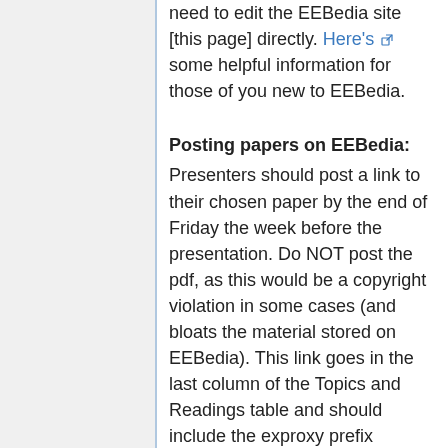need to edit the EEBedia site [this page] directly. Here's some helpful information for those of you new to EEBedia.
Posting papers on EEBedia:
Presenters should post a link to their chosen paper by the end of Friday the week before the presentation. Do NOT post the pdf, as this would be a copyright violation in some cases (and bloats the material stored on EEBedia). This link goes in the last column of the Topics and Readings table and should include the exproxy prefix (http://ezproxy.lib.uconn.edu/login?url=http://) followed by the web address for the paper. Be sure to test it! Include basic citation information as the displayed text.